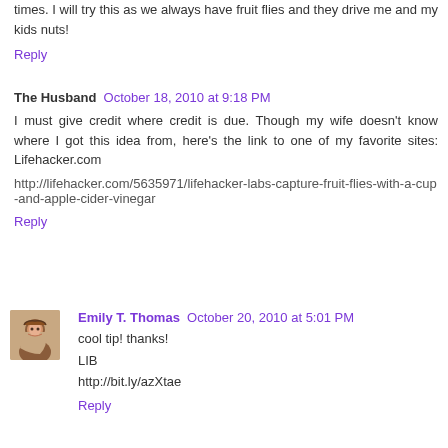times. I will try this as we always have fruit flies and they drive me and my kids nuts!
Reply
The Husband  October 18, 2010 at 9:18 PM
I must give credit where credit is due. Though my wife doesn't know where I got this idea from, here's the link to one of my favorite sites: Lifehacker.com
http://lifehacker.com/5635971/lifehacker-labs-capture-fruit-flies-with-a-cup-and-apple-cider-vinegar
Reply
Emily T. Thomas  October 20, 2010 at 5:01 PM
cool tip! thanks!
LIB
http://bit.ly/azXtae
Reply